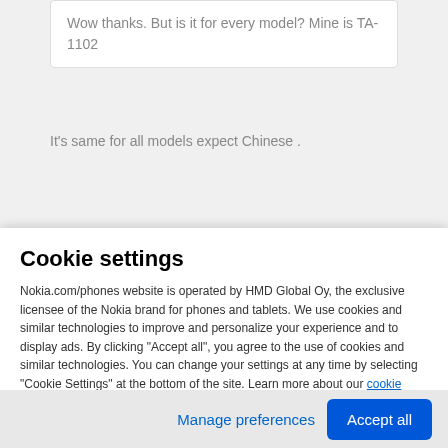Wow thanks. But is it for every model? Mine is TA-1102
It's same for all models expect Chinese .
zongaarpi
Cookie settings
Nokia.com/phones website is operated by HMD Global Oy, the exclusive licensee of the Nokia brand for phones and tablets. We use cookies and similar technologies to improve and personalize your experience and to display ads. By clicking "Accept all", you agree to the use of cookies and similar technologies. You can change your settings at any time by selecting "Cookie Settings" at the bottom of the site. Learn more about our cookie
Manage preferences
Accept all